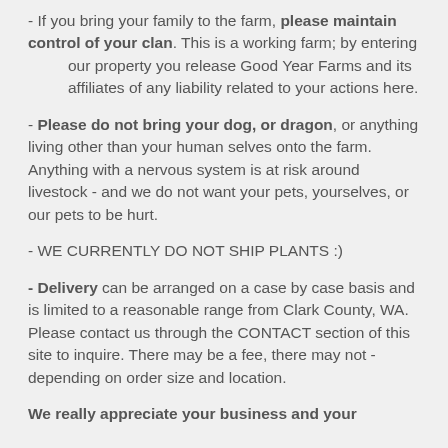- If you bring your family to the farm, please maintain control of your clan. This is a working farm; by entering our property you release Good Year Farms and its affiliates of any liability related to your actions here.
- Please do not bring your dog, or dragon, or anything living other than your human selves onto the farm. Anything with a nervous system is at risk around livestock - and we do not want your pets, yourselves, or our pets to be hurt.
- WE CURRENTLY DO NOT SHIP PLANTS :)
- Delivery can be arranged on a case by case basis and is limited to a reasonable range from Clark County, WA. Please contact us through the CONTACT section of this site to inquire. There may be a fee, there may not - depending on order size and location.
We really appreciate your business and your